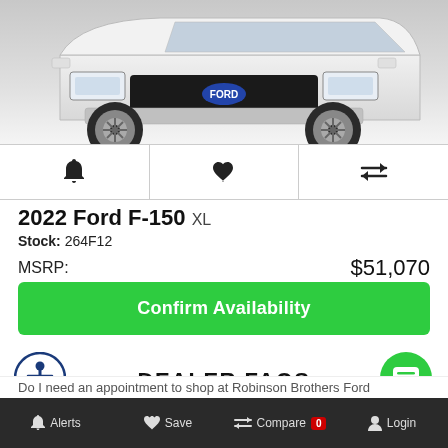[Figure (photo): Front view of a white 2022 Ford F-150 XL truck, cropped showing the front grille, headlights, bumper, and front wheels on a white/gray background.]
🔔 ♥ ⇄ (alert, save, compare icon row)
2022 Ford F-150 XL
Stock: 264F12
MSRP: $51,070
Confirm Availability
DEALER FAQS
Alerts  Save  Compare 0  Login
Do I need an appointment to shop at Robinson Brothers Ford